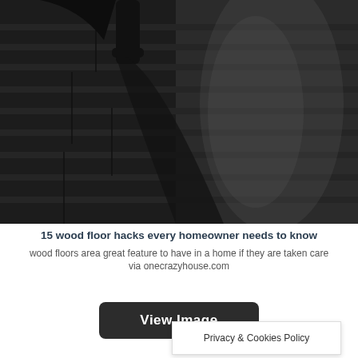[Figure (photo): Dark stained hardwood wood floor with horizontal planks, with a dark furniture leg and shadow visible in upper portion of image]
15 wood floor hacks every homeowner needs to know
wood floors area great feature to have in a home if they are taken care
via onecrazyhouse.com
View Image
Privacy & Cookies Policy